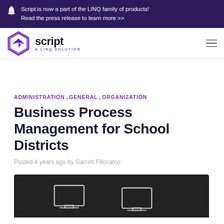Script is now a part of the LINQ family of products! Read the press release to learn more >>
[Figure (logo): Script - A LINQ Solution logo with hexagon icon]
ADMINISTRATION , GENERAL , ORGANIZATION
Business Process Management for School Districts
Posted 4 years ago by Garrett Filloramo
[Figure (illustration): Dark background hero image showing computer monitor outlines/illustrations]